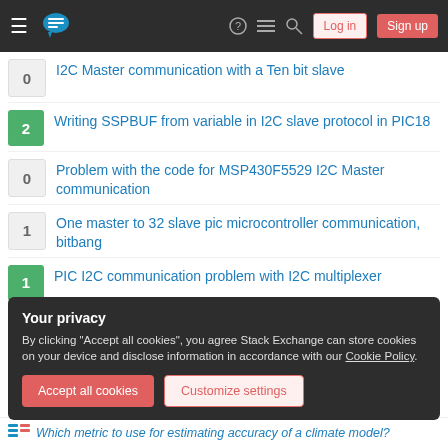Stack Exchange navigation header with Log in and Sign up buttons
0 — I2C Master communication with a Ten bit slave
2 — Writing SSPBUF from variable in I2C slave protocol in PIC18
0 — Problem with the code for MSP430F5529 I2C Master communication
1 — One master to 32 slave pic microcontroller communication, bitbang
1 — PIC I2C communication problem with I2C multiplexer
0 — Problem in editing EEPROM of MLX90614ESF sensor , pic 18f4620 , I2C communication
Your privacy
By clicking "Accept all cookies", you agree Stack Exchange can store cookies on your device and disclose information in accordance with our Cookie Policy.
Accept all cookies   Customize settings
Which metric to use for estimating accuracy of a climate model?